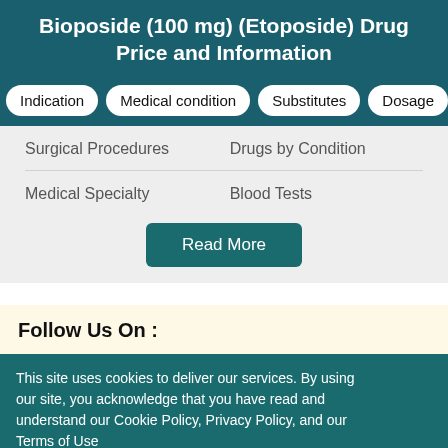Bioposide (100 mg) (Etoposide) Drug Price and Information
Indication
Medical condition
Substitutes
Dosage
| Surgical Procedures | Drugs by Condition |
| Medical Specialty | Blood Tests |
Read More
Follow Us On :
This site uses cookies to deliver our services. By using our site, you acknowledge that you have read and understand our Cookie Policy, Privacy Policy, and our Terms of Use
OK, I agree
No, give me more info
Close